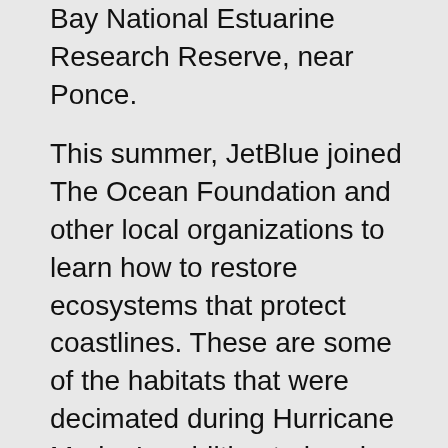Bay National Estuarine Research Reserve, near Ponce.
This summer, JetBlue joined The Ocean Foundation and other local organizations to learn how to restore ecosystems that protect coastlines. These are some of the habitats that were decimated during Hurricane Maria. In addition to hands-on work, JetBlue also offered financial support to The Ocean Foundation.
These rehabilitation efforts fit into number 31 of JetBlue’s initiatives — “Supporting the replenishment of vegetation.”
Other initiatives included immediate